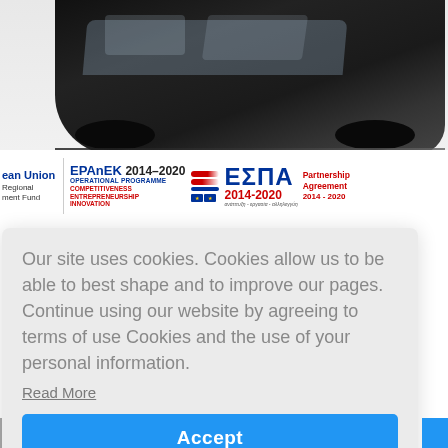[Figure (photo): Dark black car photographed from above-rear angle, partially visible]
[Figure (logo): EPAnEK 2014-2020 Operational Programme Competitiveness Entrepreneurship Innovation logo with EU flag, ΕΣΠΑ 2014-2020 logo, Partnership Agreement 2014-2020 text. Partially cut off on left showing 'ean Union Regional ment Fund'.]
Our site uses cookies. Cookies allow us to be able to best shape and to improve our pages. Continue using our website by agreeing to terms of use Cookies and the use of your personal information.
Read More
Accept
Peugeot 208 diesel